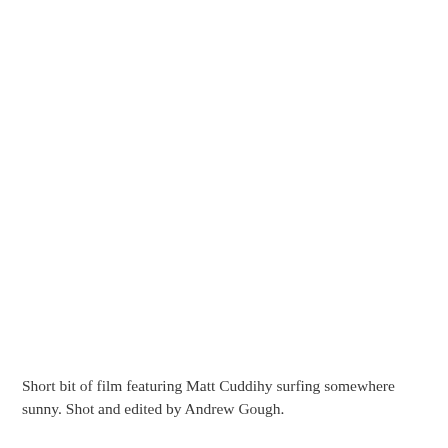Short bit of film featuring Matt Cuddihy surfing somewhere sunny. Shot and edited by Andrew Gough.